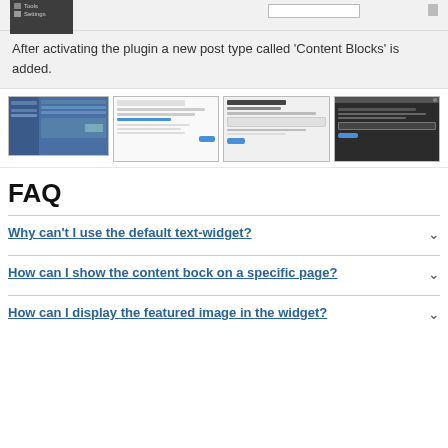[Figure (screenshot): WordPress admin sidebar showing Tools and Settings menu items, with a search bar on the right]
After activating the plugin a new post type called 'Content Blocks' is added.
[Figure (screenshot): Four thumbnail screenshots of WordPress plugin admin screens]
FAQ
Why can't I use the default text-widget?
How can I show the content bock on a specific page?
How can I display the featured image in the widget?